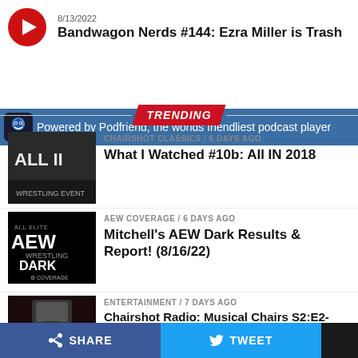8/13/2022
Bandwagon Nerds #144: Ezra Miller is Trash
Powered by Podfriend, the worlds friendliest podcast player
TRENDING
[Figure (photo): Thumbnail for What I Watched #10b: All IN 2018 - black and white wrestling promo image with ALL II text]
CHAIRSHOT CLASSICS / 6 days ago
What I Watched #10b: All IN 2018
[Figure (photo): AEW All Elite Wrestling Dark Coverage logo on black background]
AEW COVERAGE / 6 days ago
Mitchell's AEW Dark Results & Report! (8/16/22)
[Figure (photo): Chairshot Radio logo with boombox image]
ENTERTAINMENT / 7 days ago
Chairshot Radio: Musical Chairs S2:E2- Miles Davis & Black Star Riders [081622]
SHARE   TWEET